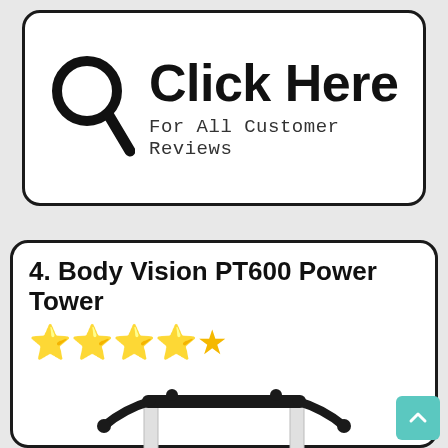[Figure (infographic): Click Here button with magnifying glass icon and text 'For All Customer Reviews']
4. Body Vision PT600 Power Tower
[Figure (photo): Photo of Body Vision PT600 Power Tower exercise equipment, showing pull-up bar and dip handles]